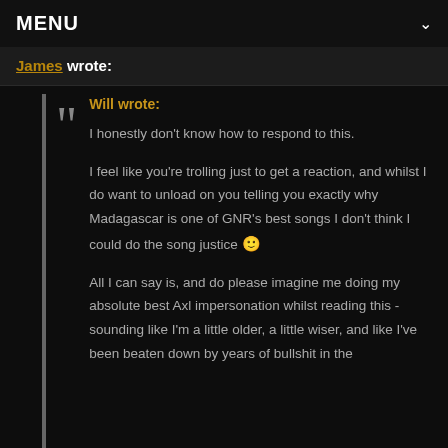MENU
James wrote:
Will wrote:
I honestly don't know how to respond to this.

I feel like you're trolling just to get a reaction, and whilst I do want to unload on you telling you exactly why Madagascar is one of GNR's best songs I don't think I could do the song justice 🙂

All I can say is, and do please imagine me doing my absolute best Axl impersonation whilst reading this - sounding like I'm a little older, a little wiser, and like I've been beaten down by years of bullshit in the